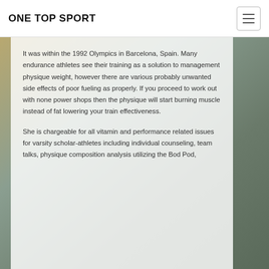ONE TOP SPORT
It was within the 1992 Olympics in Barcelona, Spain. Many endurance athletes see their training as a solution to management physique weight, however there are various probably unwanted side effects of poor fueling as properly. If you proceed to work out with none power shops then the physique will start burning muscle instead of fat lowering your train effectiveness.
She is chargeable for all vitamin and performance related issues for varsity scholar-athletes including individual counseling, team talks, physique composition analysis utilizing the Bod Pod,